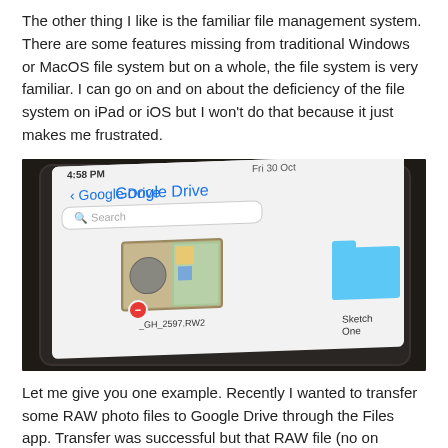The other thing I like is the familiar file management system. There are some features missing from traditional Windows or MacOS file system but on a whole, the file system is very familiar. I can go on and on about the deficiency of the file system on iPad or iOS but I won't do that because it just makes me frustrated.
[Figure (photo): A close-up photo of an iPad or tablet screen showing the Google Drive Files app interface. The screen shows a back arrow labeled 'Google Drive', a Search bar, a RAW image file thumbnail labeled '_GH_2597.RW2' with a red error badge, and a partially visible blue folder labeled 'Sketch One'. The tablet is photographed at an angle against a dark background.]
Let me give you one example. Recently I wanted to transfer some RAW photo files to Google Drive through the Files app. Transfer was successful but that RAW file (no on Google Drive) shown on Files app